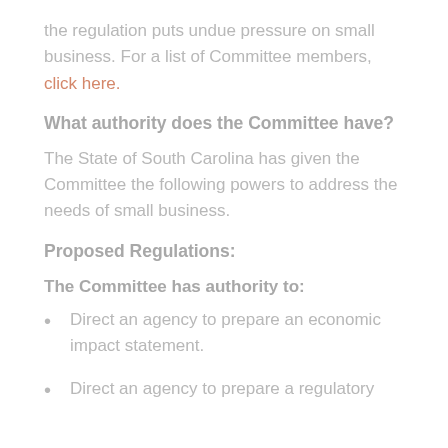the regulation puts undue pressure on small business. For a list of Committee members, click here.
What authority does the Committee have?
The State of South Carolina has given the Committee the following powers to address the needs of small business.
Proposed Regulations:
The Committee has authority to:
Direct an agency to prepare an economic impact statement.
Direct an agency to prepare a regulatory